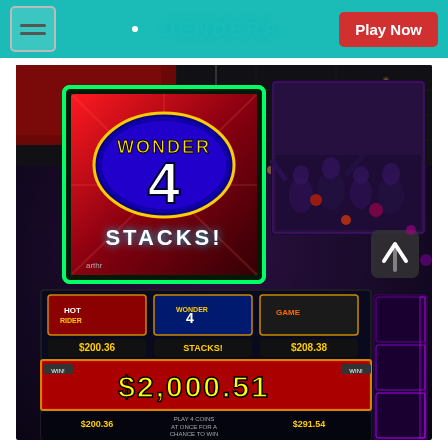DENDERA | Play Now
[Figure (photo): Casino floor photo showing Wonder 4 Stacks slot machine screen with large display showing 'WONDER 4 STACKS!' text and gaming floor with $2,000.51 jackpot display visible on slot machine panel. Multiple slot machines visible with amounts $200.36, $208.38, $200.36, $291.54. People visible in background on TV screen.]